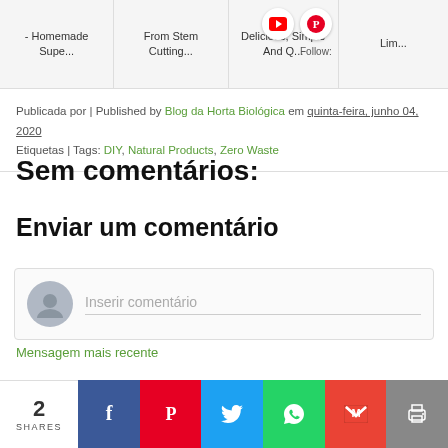- Homemade Supe... | From Stem Cutting... | Delicious, Simple And Q... | Lima...
Publicada por | Published by Blog da Horta Biológica em quinta-feira, junho 04, 2020
Etiquetas | Tags: DIY, Natural Products, Zero Waste
Sem comentários:
Enviar um comentário
Inserir comentário
Mensagem mais recente
2 SHARES | Facebook | Pinterest | Twitter | WhatsApp | Gmail | Print